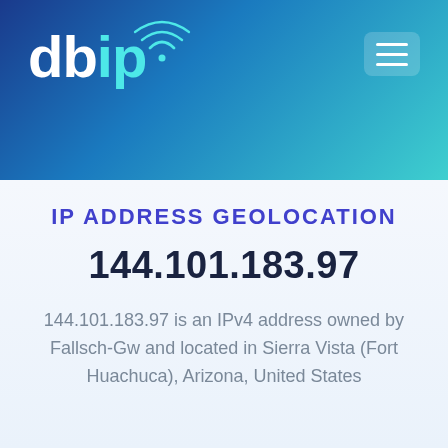[Figure (logo): db-ip.com logo with wifi signal icon above the 'i', text 'dbip' in white with 'ip' in teal, on dark blue to teal gradient header banner]
IP ADDRESS GEOLOCATION
144.101.183.97
144.101.183.97 is an IPv4 address owned by Fallsch-Gw and located in Sierra Vista (Fort Huachuca), Arizona, United States